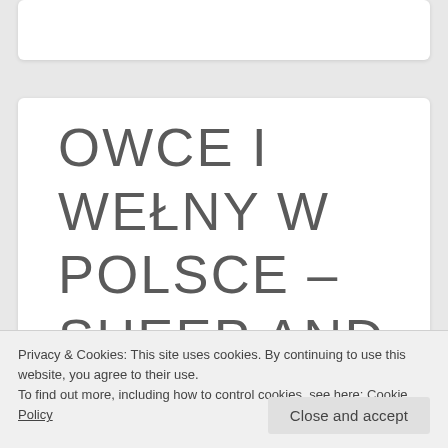OWCE I WEŁNY W POLSCE – SHEEP AND WOOL IN
Privacy & Cookies: This site uses cookies. By continuing to use this website, you agree to their use.
To find out more, including how to control cookies, see here: Cookie Policy
Close and accept